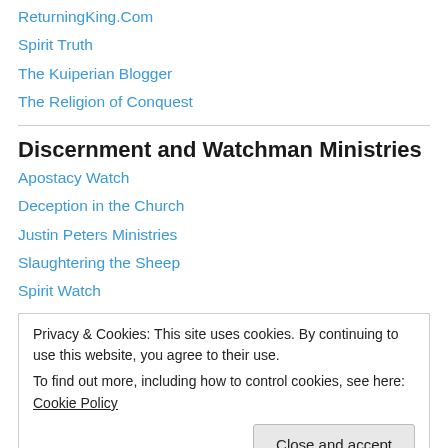ReturningKing.Com
Spirit Truth
The Kuiperian Blogger
The Religion of Conquest
Discernment and Watchman Ministries
Apostacy Watch
Deception in the Church
Justin Peters Ministries
Slaughtering the Sheep
Spirit Watch
Privacy & Cookies: This site uses cookies. By continuing to use this website, you agree to their use. To find out more, including how to control cookies, see here: Cookie Policy
Close and accept
Tithing Study group